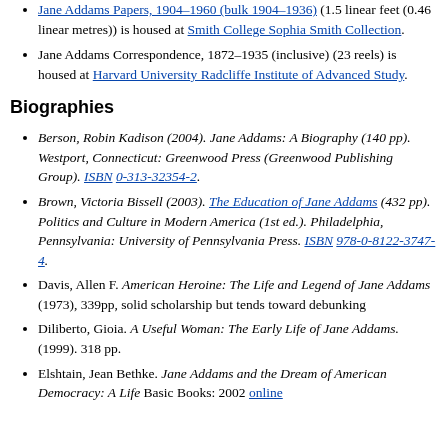Jane Addams Papers, 1904–1960 (bulk 1904–1936) (1.5 linear feet (0.46 linear metres)) is housed at Smith College Sophia Smith Collection.
Jane Addams Correspondence, 1872–1935 (inclusive) (23 reels) is housed at Harvard University Radcliffe Institute of Advanced Study.
Biographies
Berson, Robin Kadison (2004). Jane Addams: A Biography (140 pp). Westport, Connecticut: Greenwood Press (Greenwood Publishing Group). ISBN 0-313-32354-2.
Brown, Victoria Bissell (2003). The Education of Jane Addams (432 pp). Politics and Culture in Modern America (1st ed.). Philadelphia, Pennsylvania: University of Pennsylvania Press. ISBN 978-0-8122-3747-4.
Davis, Allen F. American Heroine: The Life and Legend of Jane Addams (1973), 339pp, solid scholarship but tends toward debunking
Diliberto, Gioia. A Useful Woman: The Early Life of Jane Addams. (1999). 318 pp.
Elshtain, Jean Bethke. Jane Addams and the Dream of American Democracy: A Life Basic Books: 2002 online